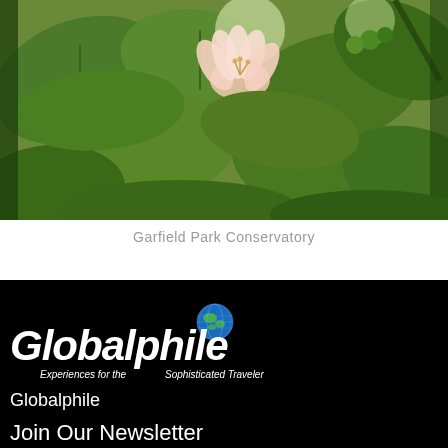[Figure (photo): Close-up photo of pink flower with green leaves at Garfield Park Conservatory]
Garfield Park Conservatory
[Figure (logo): Globalphile logo — globe icon with italic text 'Globalphile' and tagline 'Experiences for the Sophisticated Traveler' on black background]
Globalphile
Join Our Newsletter